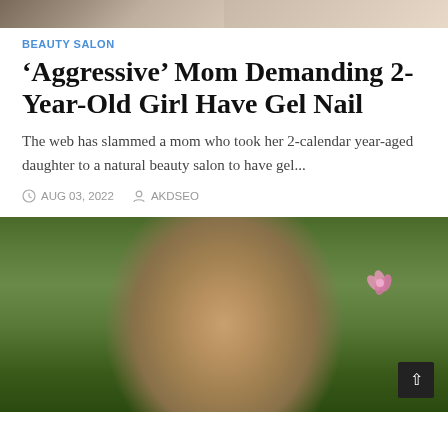[Figure (photo): Partial top banner showing cropped images of people, cut off at top of page]
BEAUTY SALON
'Aggressive' Mom Demanding 2-Year-Old Girl Have Gel Nail
The web has slammed a mom who took her 2-calendar year-aged daughter to a natural beauty salon to have gel...
AUG 03, 2022   AKDSEO
[Figure (photo): Portrait photo of a woman with long reddish-brown hair and glasses, outdoors with green foliage in background and a small pink flower visible]